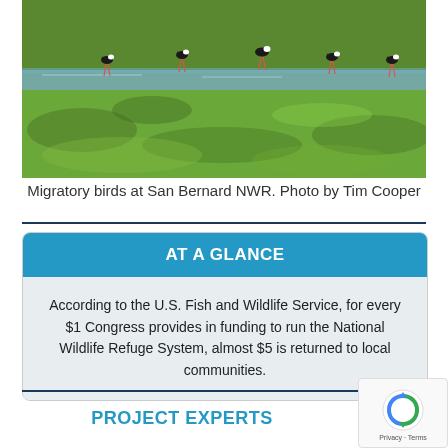[Figure (photo): Migratory birds (black-necked stilts) standing in a green wetland with shallow water at San Bernard NWR]
Migratory birds at San Bernard NWR. Photo by Tim Cooper
AT A GLANCE
According to the U.S. Fish and Wildlife Service, for every $1 Congress provides in funding to run the National Wildlife Refuge System, almost $5 is returned to local communities.
PROJECT EXPERTS